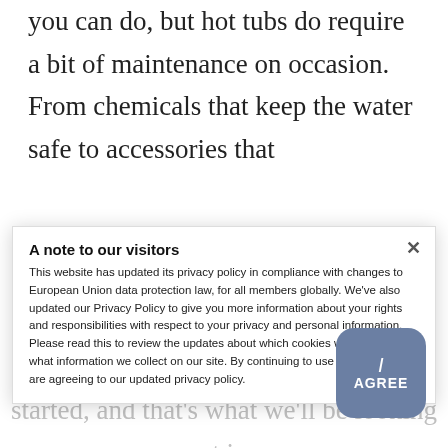you can do, but hot tubs do require a bit of maintenance on occasion. From chemicals that keep the water safe to accessories that enhance your experience, there are a few things you'll need to get started, and that's what we'll be looking at in this guide
Hot Tub Chemicals
Hot tub chemicals are perhaps the most important thing to have when you want to enjoy your spa.
A note to our visitors
This website has updated its privacy policy in compliance with changes to European Union data protection law, for all members globally. We've also updated our Privacy Policy to give you more information about your rights and responsibilities with respect to your privacy and personal information. Please read this to review the updates about which cookies we use and what information we collect on our site. By continuing to use this site, you are agreeing to our updated privacy policy.